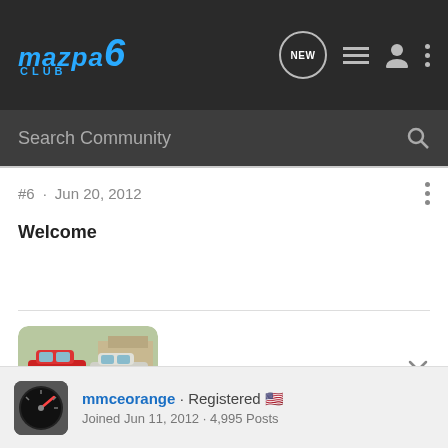Mazda 6 Club — New | List | User | More
Search Community
#6 · Jun 20, 2012
Welcome
[Figure (photo): Photo of two cars (a red car and a silver/white car) parked outdoors, shown as a small thumbnail image with rounded corners.]
mmceorange · Registered 🇺🇸
Joined Jun 11, 2012 · 4,995 Posts